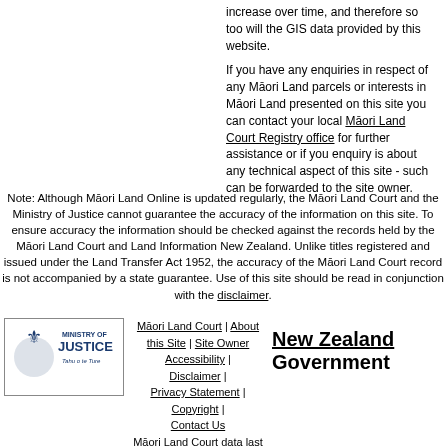increase over time, and therefore so too will the GIS data provided by this website.
If you have any enquiries in respect of any Māori Land parcels or interests in Māori Land presented on this site you can contact your local Māori Land Court Registry office for further assistance or if you enquiry is about any technical aspect of this site - such can be forwarded to the site owner.
Note: Although Māori Land Online is updated regularly, the Māori Land Court and the Ministry of Justice cannot guarantee the accuracy of the information on this site. To ensure accuracy the information should be checked against the records held by the Māori Land Court and Land Information New Zealand. Unlike titles registered and issued under the Land Transfer Act 1952, the accuracy of the Māori Land Court record is not accompanied by a state guarantee. Use of this site should be read in conjunction with the disclaimer.
[Figure (logo): Ministry of Justice logo with crown emblem and Māori text 'Tahu o te Ture']
Māori Land Court | About this Site | Site Owner Accessibility | Disclaimer | Privacy Statement | Copyright | Contact Us Māori Land Court data last updated: 26/08/2022 LINZ data last
[Figure (logo): New Zealand Government logo text]